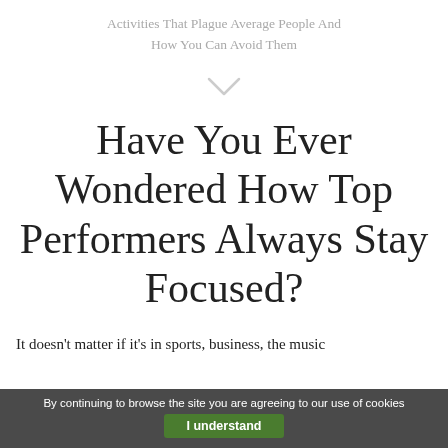Activities That Plague Average People And How You Can Avoid Them
[Figure (other): Downward chevron / arrow icon in light gray]
Have You Ever Wondered How Top Performers Always Stay Focused?
It doesn't matter if it's in sports, business, the music
By continuing to browse the site you are agreeing to our use of cookies  I understand